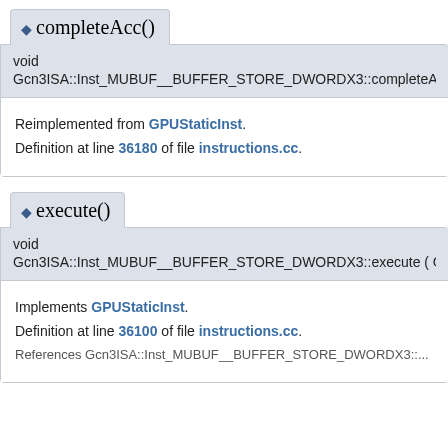◆ completeAcc()
void
Gcn3ISA::Inst_MUBUF__BUFFER_STORE_DWORDX3::completeAcc
Reimplemented from GPUStaticInst.
Definition at line 36180 of file instructions.cc.
◆ execute()
void
Gcn3ISA::Inst_MUBUF__BUFFER_STORE_DWORDX3::execute ( G
Implements GPUStaticInst.
Definition at line 36100 of file instructions.cc.